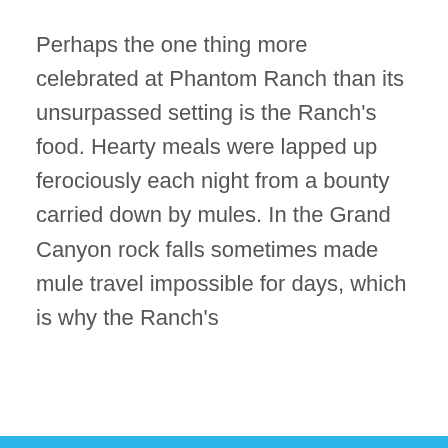Perhaps the one thing more celebrated at Phantom Ranch than its unsurpassed setting is the Ranch’s food. Hearty meals were lapped up ferociously each night from a bounty carried down by mules. In the Grand Canyon rock falls sometimes made mule travel impossible for days, which is why the Ranch’s
2X Match to Save Historic Places!
A generous donor offered to match all gifts through August 31, dollar-for-dollar, up to $25,000. Give today to make twice the impact for historic preservation!
DOUBLE MY GIFT